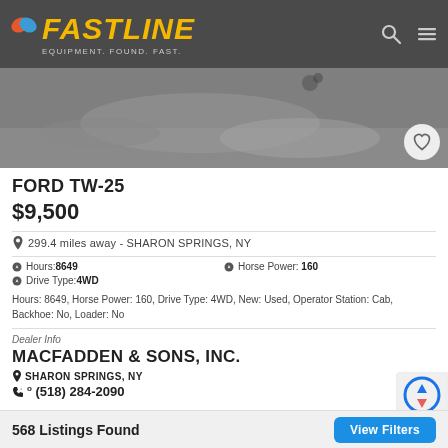FASTLINE — EQUIPMENT. FOUND. FAST.
[Figure (photo): Partial photo of a Ford TW-25 tractor, showing ground-level view]
FORD TW-25
$9,500
299.4 miles away - SHARON SPRINGS, NY
Hours: 8649
Horse Power: 160
Drive Type: 4WD
Hours: 8649, Horse Power: 160, Drive Type: 4WD, New: Used, Operator Station: Cab, Backhoe: No, Loader: No
Dealer Info
MACFADDEN & SONS, INC.
SHARON SPRINGS, NY
(518) 284-2090
568 Listings Found   View Filters